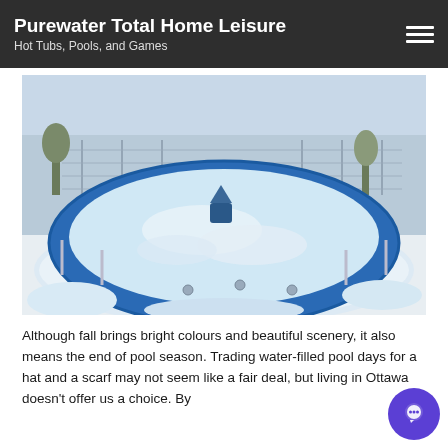Purewater Total Home Leisure
Hot Tubs, Pools, and Games
[Figure (photo): An above-ground circular pool with blue walls filled with snow and ice, sitting in a snowy backyard with chain-link fence and bare trees in the background.]
Although fall brings bright colours and beautiful scenery, it also means the end of pool season. Trading water-filled pool days for a hat and a scarf may not seem like a fair deal, but living in Ottawa doesn't offer us a choice. By